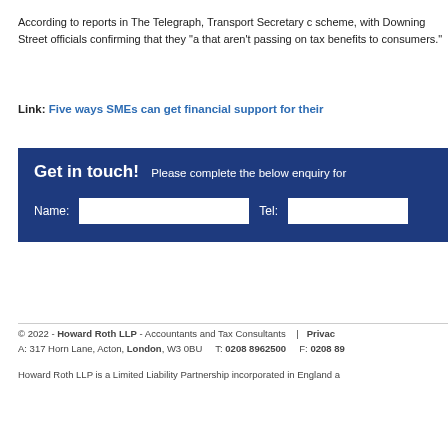According to reports in The Telegraph, Transport Secretary c scheme, with Downing Street officials confirming that they "a that aren't passing on tax benefits to consumers."
Link: Five ways SMEs can get financial support for their
Get in touch!  Please complete the below enquiry for
© 2022 - Howard Roth LLP - Accountants and Tax Consultants | Privac A: 317 Horn Lane, Acton, London, W3 0BU    T: 0208 8962500    F: 0208 89
Howard Roth LLP is a Limited Liability Partnership incorporated in England a